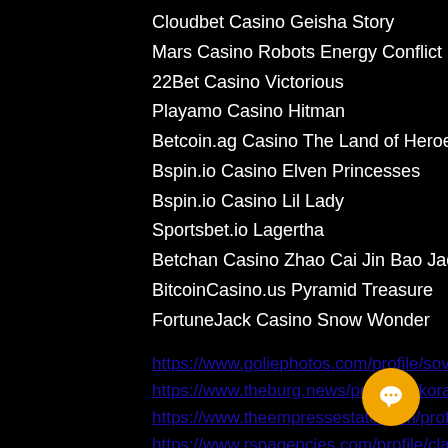Cloudbet Casino Geisha Story
Mars Casino Robots Energy Conflict
22Bet Casino Victorious
Playamo Casino Hitman
Betcoin.ag Casino The Land of Heroes
Bspin.io Casino Elven Princesses
Bspin.io Casino Lil Lady
Sportsbet.io Lagertha
Betchan Casino Zhao Cai Jin Bao Jackpot
BitcoinCasino.us Pyramid Treasure
FortuneJack Casino Snow Wonder
https://www.goliephotos.com/profile/sovelpackerp/profile
https://www.theburg.news/profile/sykorareineno/profile
https://www.theempressestate.com/profile/saycovein4/profile
https://www.rspagencies.com/profile/clannec/profile